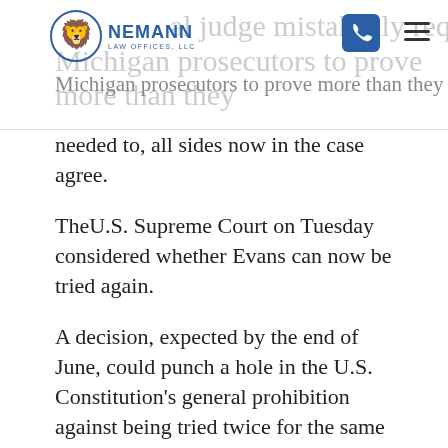...al judge mistakenly required Michigan prosecutors to prove more than they
needed to, all sides now in the case agree.
The U.S. Supreme Court on Tuesday considered whether Evans can now be tried again.
A decision, expected by the end of June, could punch a hole in the U.S. Constitution's general prohibition against being tried twice for the same crime, known as double jeopardy.
Justices appeared torn over how to balance the protection under that rule against potentially setting guilty defendants free by depriving the government